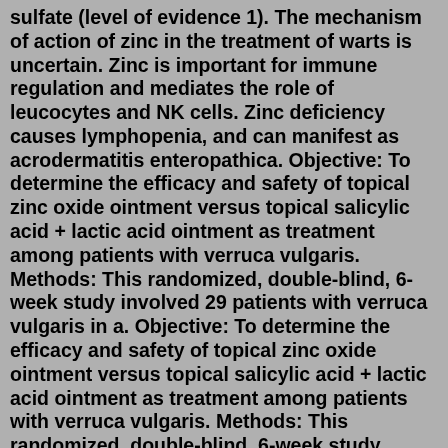sulfate (level of evidence 1). The mechanism of action of zinc in the treatment of warts is uncertain. Zinc is important for immune regulation and mediates the role of leucocytes and NK cells. Zinc deficiency causes lymphopenia, and can manifest as acrodermatitis enteropathica. Objective: To determine the efficacy and safety of topical zinc oxide ointment versus topical salicylic acid + lactic acid ointment as treatment among patients with verruca vulgaris. Methods: This randomized, double-blind, 6-week study involved 29 patients with verruca vulgaris in a. Objective: To determine the efficacy and safety of topical zinc oxide ointment versus topical salicylic acid + lactic acid ointment as treatment among patients with verruca vulgaris. Methods: This randomized, double-blind, 6-week study involved 29 patients with verruca vulgaris in a. Duct tape has been shown to get rid of most viral warts of the skin when used properly. Please follow the above instructions and use the duct tape for at least 2 months before giving up on the treatment. (* Fact D